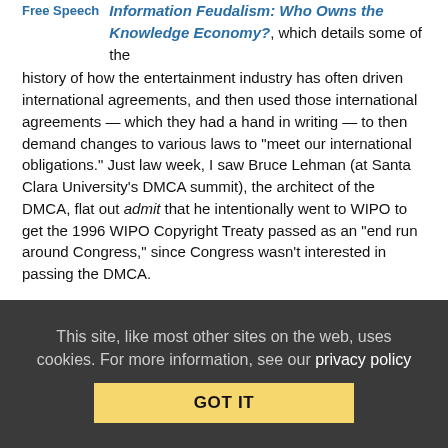Free Speech   Information Feudalism: Who Owns the Knowledge Economy?, which details some of the history of how the entertainment industry has often driven international agreements, and then used those international agreements — which they had a hand in writing — to then demand changes to various laws to "meet our international obligations." Just law week, I saw Bruce Lehman (at Santa Clara University's DMCA summit), the architect of the DMCA, flat out admit that he intentionally went to WIPO to get the 1996 WIPO Copyright Treaty passed as an "end run around Congress," since Congress wasn't interested in passing the DMCA.
Just last week, we also highlighted how existing international free trade agreements make it difficult for Congress to fix something as simple as making it legal to unlock your mobile phones, even if the White House has come out in favor of it. I'll have more on this little horror story shortly, but these kinds of examples should have us tremendously worried about various international agreements, from
This site, like most other sites on the web, uses cookies. For more information, see our privacy policy
GOT IT